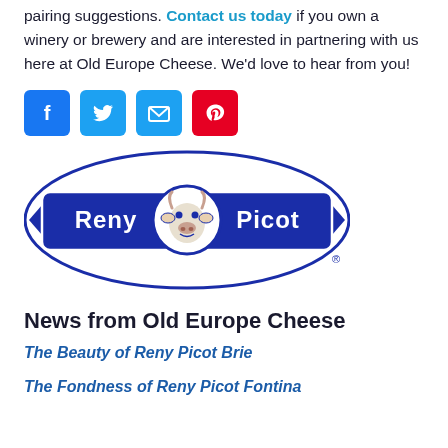pairing suggestions. Contact us today if you own a winery or brewery and are interested in partnering with us here at Old Europe Cheese. We'd love to hear from you!
[Figure (infographic): Four social media share icons: Facebook (blue), Twitter (blue), Email (blue), Pinterest (red)]
[Figure (logo): Reny Picot logo — dark blue rounded rectangle banner with white text 'Reny Picot' and a cartoon cow head in the center circle, registered trademark symbol]
News from Old Europe Cheese
The Beauty of Reny Picot Brie
The Fondness of Reny Picot Fontina